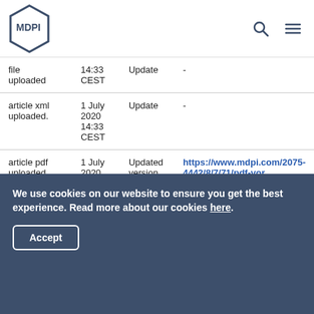MDPI
|  |  |  |  |
| --- | --- | --- | --- |
| file uploaded | 14:33 CEST | Update | - |
| article xml uploaded. | 1 July 2020 14:33 CEST | Update | - |
| article pdf uploaded. | 1 July 2020 14:33 CEST | Updated version of record | https://www.mdpi.com/2075-4442/8/7/71/pdf-vor |
We use cookies on our website to ensure you get the best experience. Read more about our cookies here.
Accept